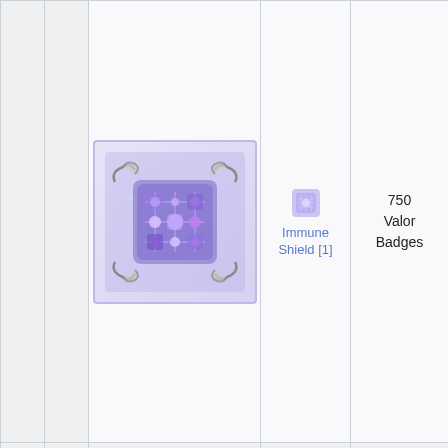[Figure (illustration): Immune Shield item icon - a glowing purple/blue shield or circuit-board-like item with decorative scroll borders, set against a light lavender background cell]
Immune Shield [1]
750 Valor Badges
shield which power If upgrading increa against toleran refine If upgrading toleran 5%. If upgrading increa Earth, Class: Defen Weigh Requi Job: A